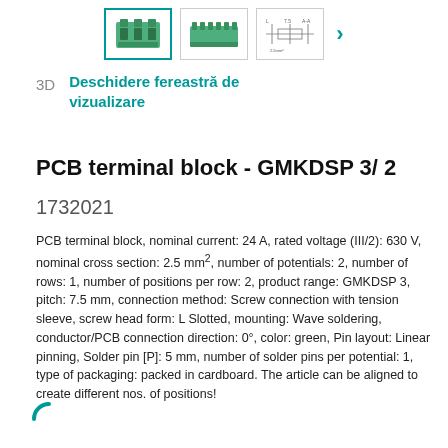[Figure (other): Three product thumbnail images at the top: green PCB terminal block photo (selected, teal border), green terminal block second view, and a technical schematic drawing. Arrow pointing right at the end.]
3D  Deschidere fereastră de vizualizare
PCB terminal block - GMKDSP 3/ 2
1732021
PCB terminal block, nominal current: 24 A, rated voltage (III/2): 630 V, nominal cross section: 2.5 mm², number of potentials: 2, number of rows: 1, number of positions per row: 2, product range: GMKDSP 3, pitch: 7.5 mm, connection method: Screw connection with tension sleeve, screw head form: L Slotted, mounting: Wave soldering, conductor/PCB connection direction: 0°, color: green, Pin layout: Linear pinning, Solder pin [P]: 5 mm, number of solder pins per potential: 1, type of packaging: packed in cardboard. The article can be aligned to create different nos. of positions!
[Figure (other): Partial loading spinner icon (teal circular arc, letter C shape) at the bottom left]